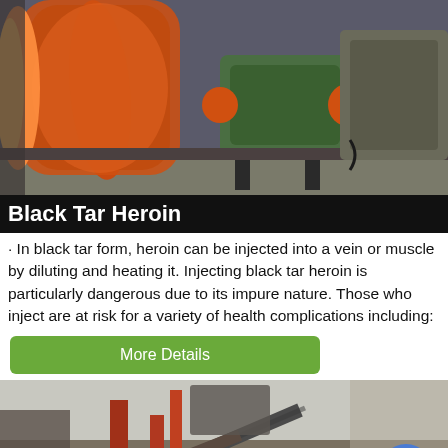[Figure (photo): Industrial machinery photo showing large orange rotating drum/cylinder with green motor housing and orange shaft couplings in a factory setting]
Black Tar Heroin
· In black tar form, heroin can be injected into a vein or muscle by diluting and heating it. Injecting black tar heroin is particularly dangerous due to its impure nature. Those who inject are at risk for a variety of health complications including:
[Figure (other): Green button labeled 'More Details']
[Figure (photo): Industrial machinery/mining equipment photo showing conveyor belts and red mechanical structures outdoors with a blue chat bubble icon overlay in bottom right]